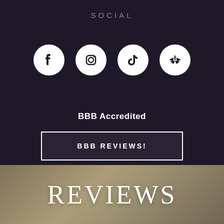SOCIAL
[Figure (illustration): Four social media icons in white circles: Facebook, Instagram, TikTok, and Yelp]
BBB Accredited
BBB REVIEWS!
REVIEWS